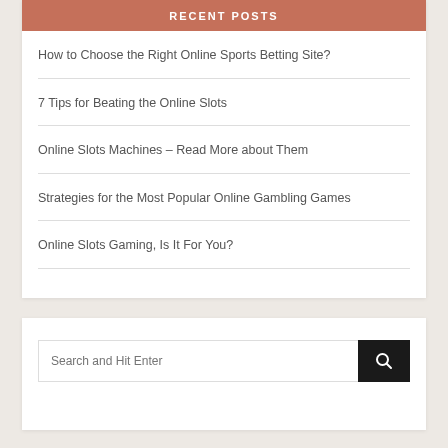RECENT POSTS
How to Choose the Right Online Sports Betting Site?
7 Tips for Beating the Online Slots
Online Slots Machines – Read More about Them
Strategies for the Most Popular Online Gambling Games
Online Slots Gaming, Is It For You?
Search and Hit Enter